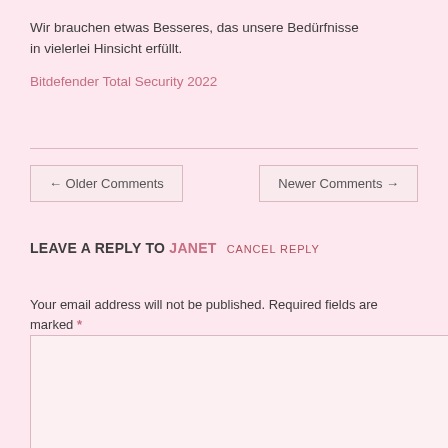Wir brauchen etwas Besseres, das unsere Bedürfnisse in vielerlei Hinsicht erfüllt.
Bitdefender Total Security 2022
← Older Comments
Newer Comments →
LEAVE A REPLY TO JANET  CANCEL REPLY
Your email address will not be published. Required fields are marked *